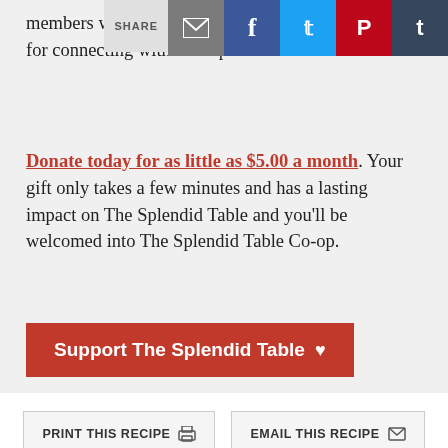members will get exclusive con special opportunities for connecting with The Splendid Table team.
Donate today for as little as $5.00 a month. Your gift only takes a few minutes and has a lasting impact on The Splendid Table and you'll be welcomed into The Splendid Table Co-op.
[Figure (screenshot): Red support button reading 'Support The Splendid Table' with heart icon]
[Figure (screenshot): Two buttons: 'PRINT THIS RECIPE' with printer icon and 'EMAIL THIS RECIPE' with mail icon]
Four Persian Cooks